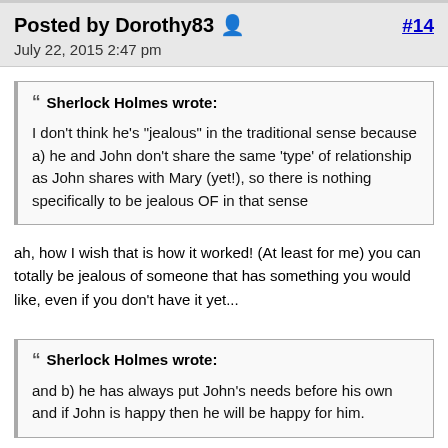Posted by Dorothy83   #14
July 22, 2015 2:47 pm
❝ Sherlock Holmes wrote:

I don't think he's "jealous" in the traditional sense because a) he and John don't share the same 'type' of relationship as John shares with Mary (yet!), so there is nothing specifically to be jealous OF in that sense
ah, how I wish that is how it worked! (At least for me) you can totally be jealous of someone that has something you would like, even if you don't have it yet...
❝ Sherlock Holmes wrote:

and b) he has always put John's needs before his own and if John is happy then he will be happy for him.
yes, although, and I'm probably just repeating what has been said before, this has only started to happen after the fall, because before that Sherlock